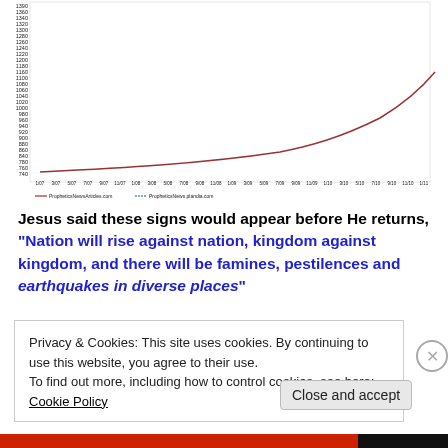[Figure (continuous-plot): Line chart with dense y-axis labels (ranging from approximately 140 to 1390) and x-axis time labels. A red/brown line curves upward from lower left, showing earthquake or disaster frequency over time. Small legend at bottom left.]
Jesus said these signs would appear before He returns, "Nation will rise against nation, kingdom against kingdom, and there will be famines, pestilences and earthquakes in diverse places"
Privacy & Cookies: This site uses cookies. By continuing to use this website, you agree to their use.
To find out more, including how to control cookies, see here: Cookie Policy